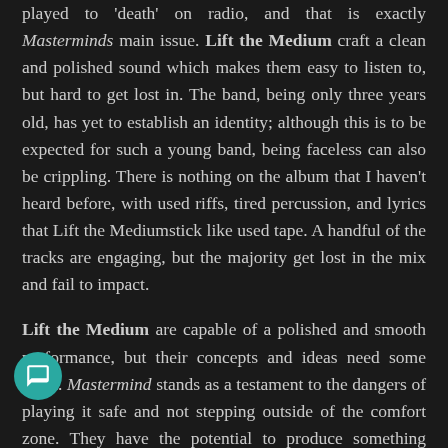played to 'death' on radio, and that is exactly Masterminds main issue. Lift the Medium craft a clean and polished sound which makes them easy to listen to, but hard to get lost in. The band, being only three years old, has yet to establish an identity; although this is to be expected for such a young band, being faceless can also be crippling. There is nothing on the album that I haven't heard before, with used riffs, tired percussion, and lyrics that Lift the Mediumstick like used tape. A handful of the tracks are engaging, but the majority get lost in the mix and fail to impact.
Lift the Medium are capable of a polished and smooth performance, but their concepts and ideas need some work. Mastermind stands as a testament to the dangers of playing it safe and not stepping outside of the comfort zone. They have the potential to produce something amazing ("The ble" was awesome) but this effort doesn't reach very high. With a little creative spice, the band could be one to keep